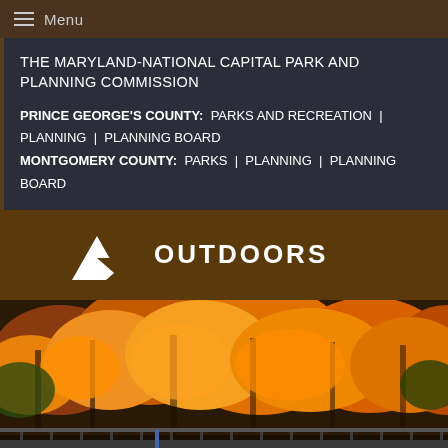Menu
THE MARYLAND-NATIONAL CAPITAL PARK AND PLANNING COMMISSION
PRINCE GEORGE'S COUNTY: PARKS AND RECREATION | PLANNING | PLANNING BOARD MONTGOMERY COUNTY: PARKS | PLANNING | PLANNING BOARD
[Figure (logo): Outdoors logo with white geometric park/mountain symbol on brown background with text OUTDOORS]
[Figure (photo): Autumn fall foliage with orange and yellow trees, and a wooden bridge/trestle structure in the foreground]